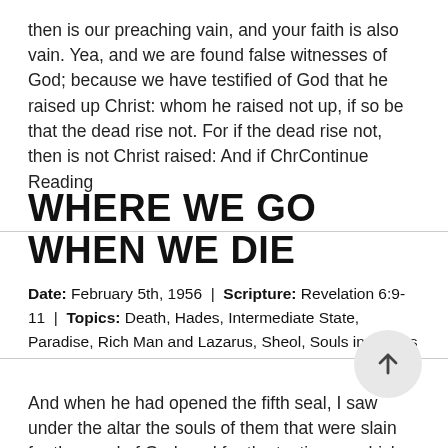then is our preaching vain, and your faith is also vain. Yea, and we are found false witnesses of God; because we have testified of God that he raised up Christ: whom he raised not up, if so be that the dead rise not. For if the dead rise not, then is not Christ raised: And if ChrContinue Reading
WHERE WE GO WHEN WE DIE
Date: February 5th, 1956 | Scripture: Revelation 6:9-11 | Topics: Death, Hades, Intermediate State, Paradise, Rich Man and Lazarus, Sheol, Souls in Chains
And when he had opened the fifth seal, I saw under the altar the souls of them that were slain for the word of God, and for the testimony which they held: And they